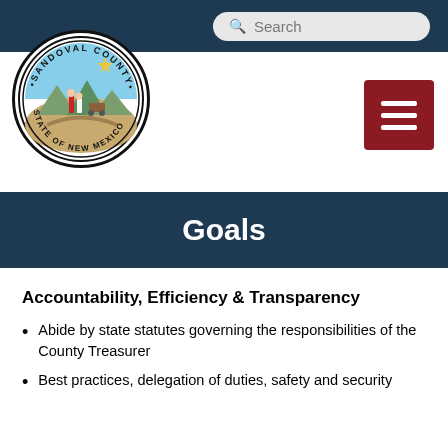[Figure (logo): Sandoval County, State of New Mexico circular seal/logo]
Goals
Accountability, Efficiency & Transparency
Abide by state statutes governing the responsibilities of the County Treasurer
Best practices, delegation of duties, safety and security